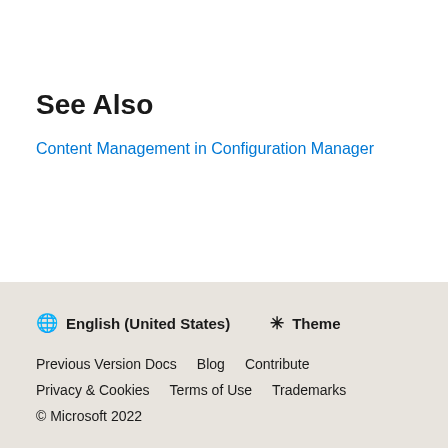See Also
Content Management in Configuration Manager
🌐 English (United States)  ☀ Theme
Previous Version Docs  Blog  Contribute
Privacy & Cookies  Terms of Use  Trademarks
© Microsoft 2022